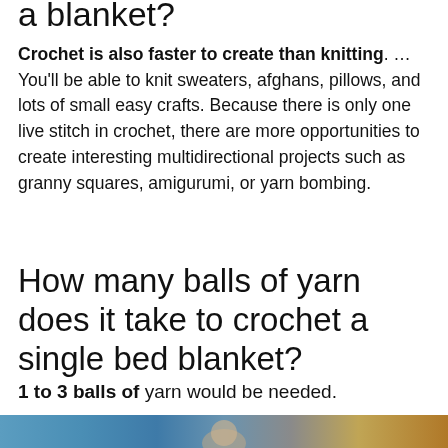Crochet is also faster to create than knitting. ... You'll be able to knit sweaters, afghans, pillows, and lots of small easy crafts. Because there is only one live stitch in crochet, there are more opportunities to create interesting multidirectional projects such as granny squares, amigurumi, or yarn bombing.
How many balls of yarn does it take to crochet a single bed blanket?
1 to 3 balls of yarn would be needed.
[Figure (photo): Partial photo at bottom of page, appears to show a person, cropped at top.]